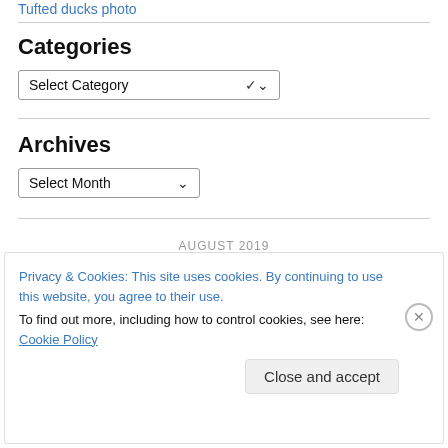Tufted ducks photo
Categories
Select Category
Archives
Select Month
AUGUST 2019
Privacy & Cookies: This site uses cookies. By continuing to use this website, you agree to their use.
To find out more, including how to control cookies, see here: Cookie Policy
Close and accept